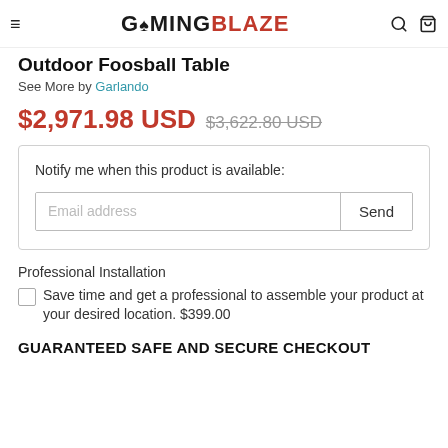GAMINGBLAZE
Outdoor Foosball Table
See More by Garlando
$2,971.98 USD $3,622.80 USD
Notify me when this product is available:
Email address  Send
Professional Installation
Save time and get a professional to assemble your product at your desired location. $399.00
GUARANTEED SAFE AND SECURE CHECKOUT